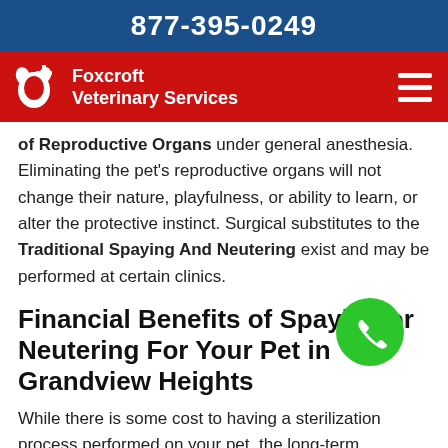877-395-0249
[Figure (logo): Foxcroft Veterinary Services logo with red background, white dog/cat icon with plus sign, and white text reading 'Foxcroft Veterinary Services', plus hamburger menu icon on right]
of Reproductive Organs under general anesthesia. Eliminating the pet's reproductive organs will not change their nature, playfulness, or ability to learn, or alter the protective instinct. Surgical substitutes to the Traditional Spaying And Neutering exist and may be performed at certain clinics.
Financial Benefits of Spaying or Neutering For Your Pet in Grandview Heights
While there is some cost to having a sterilization process performed on your pet, the long-term economic benefits far